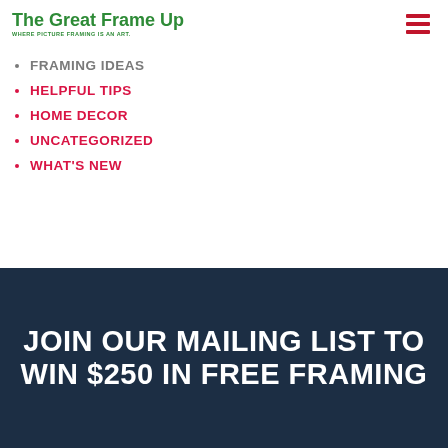[Figure (logo): The Great Frame Up logo in green with tagline 'WHERE PICTURE FRAMING IS AN ART.']
[Figure (other): Hamburger menu icon with three red horizontal bars]
FRAMING IDEAS
HELPFUL TIPS
HOME DECOR
UNCATEGORIZED
WHAT'S NEW
JOIN OUR MAILING LIST TO WIN $250 IN FREE FRAMING